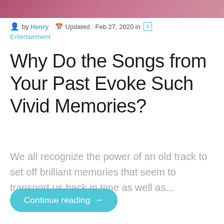[Figure (photo): Top banner image with pink/red gradient background, partially cropped photograph.]
by Henry  Updated : Feb 27, 2020 in  Entertainment
Why Do the Songs from Your Past Evoke Such Vivid Memories?
We all recognize the power of an old track to set off brilliant memories that seem to transport us back in time as well as...
Continue reading →